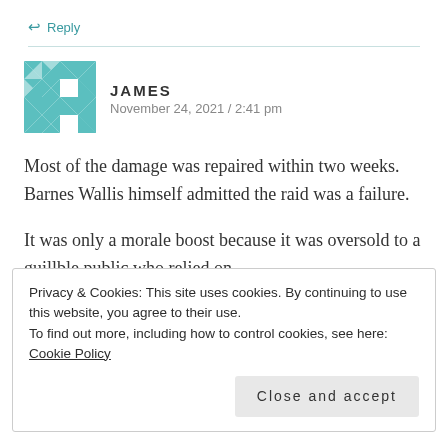↩ Reply
JAMES
November 24, 2021 / 2:41 pm
Most of the damage was repaired within two weeks. Barnes Wallis himself admitted the raid was a failure.
It was only a morale boost because it was oversold to a guillble public who relied on
Privacy & Cookies: This site uses cookies. By continuing to use this website, you agree to their use.
To find out more, including how to control cookies, see here: Cookie Policy
Close and accept